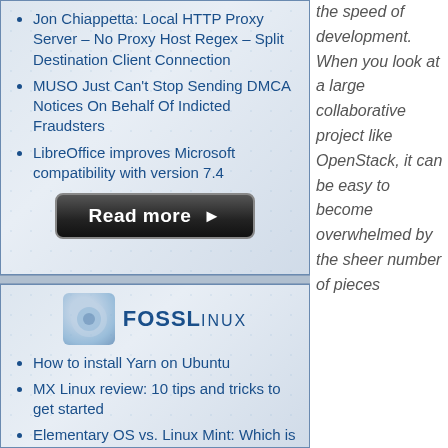Jon Chiappetta: Local HTTP Proxy Server – No Proxy Host Regex – Split Destination Client Connection
MUSO Just Can't Stop Sending DMCA Notices On Behalf Of Indicted Fraudsters
LibreOffice improves Microsoft compatibility with version 7.4
[Figure (other): Read more button with arrow]
FOSSLinux
How to install Yarn on Ubuntu
MX Linux review: 10 tips and tricks to get started
Elementary OS vs. Linux Mint: Which is right for you?
the speed of development. When you look at a large collaborative project like OpenStack, it can be easy to become overwhelmed by the sheer number of pieces